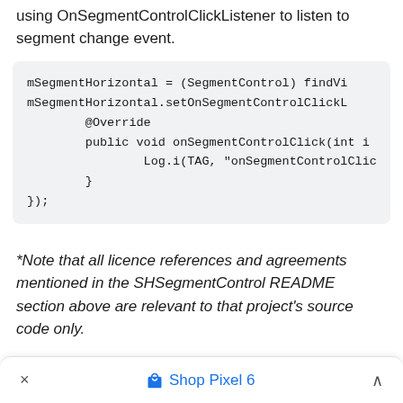using OnSegmentControlClickListener to listen to segment change event.
[Figure (screenshot): Code block showing Java code: mSegmentHorizontal = (SegmentControl) findVi... mSegmentHorizontal.setOnSegmentControlClickL... @Override public void onSegmentControlClick(int i Log.i(TAG, "onSegmentControlClick:... } });]
*Note that all licence references and agreements mentioned in the SHSegmentControl README section above are relevant to that project's source code only.
× Shop Pixel 6 ^